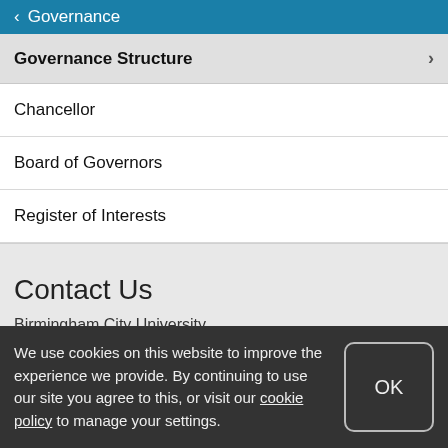Governance
Governance Structure
Chancellor
Board of Governors
Register of Interests
Contact Us
Birmingham City University
University House
We use cookies on this website to improve the experience we provide. By continuing to use our site you agree to this, or visit our cookie policy to manage your settings.